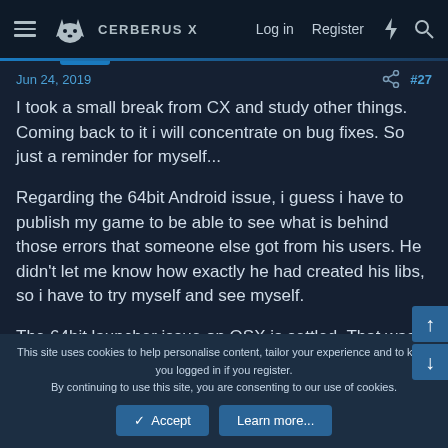CERBERUS X  |  Log in  Register
Jun 24, 2019  #27
I took a small break from CX and study other things. Coming back to it i will concentrate on bug fixes. So just a reminder for myself...

Regarding the 64bit Android issue, i guess i have to publish my game to be able to see what is behind those errors that someone else got from his users. He didn't let me know how exactly he had created his libs, so i have to try myself and see myself.

The 64bit launcher issue on OSX is settled. That was easy with the help of Bmax-NG.
This site uses cookies to help personalise content, tailor your experience and to keep you logged in if you register.
By continuing to use this site, you are consenting to our use of cookies.